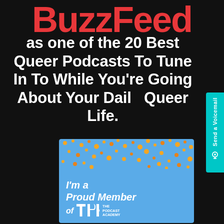[Figure (logo): BuzzFeed logo in red bold text]
as one of the 20 Best Queer Podcasts To Tune In To While You're Going About Your Daily Queer Life.
[Figure (other): I'm a Proud Member of TPA The Podcast Academy badge with blue background and gold confetti]
[Figure (other): Send a Voicemail tab button on the right side]